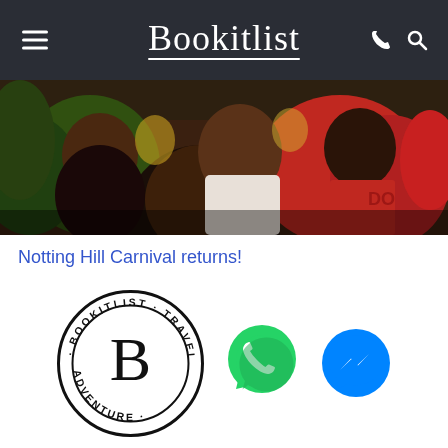Bookitlist
[Figure (photo): Crowd of people at Notting Hill Carnival, close-up shot showing people in colorful clothing including red shirts]
Notting Hill Carnival returns!
[Figure (logo): Bookitlist circular logo with text BOOKITLIST TRAVEL & ADVENTURE around a script B in the center, plus WhatsApp and Facebook Messenger contact buttons]